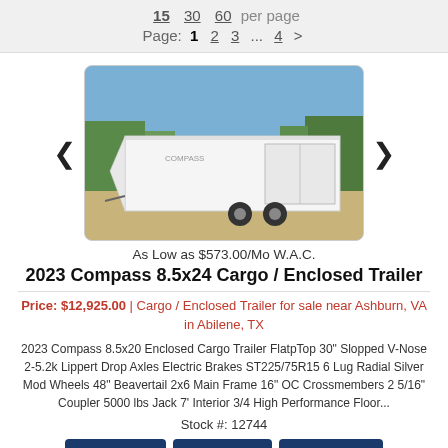15  30  60  per page
Page: 1  2  3  ...  4  >
[Figure (photo): White enclosed cargo trailer parked on a dirt lot with trees in the background, sunny day]
As Low as $573.00/Mo W.A.C.
2023 Compass 8.5x24 Cargo / Enclosed Trailer
Price: $12,925.00 | Cargo / Enclosed Trailer for sale near Ashburn, VA in Abilene, TX
2023 Compass 8.5x20 Enclosed Cargo Trailer FlatpTop 30" Slopped V-Nose 2-5.2k Lippert Drop Axles Electric Brakes ST225/75R15 6 Lug Radial Silver Mod Wheels 48" Beavertail 2x6 Main Frame 16" OC Crossmembers 2 5/16" Coupler 5000 lbs Jack 7' Interior 3/4 High Performance Floor...
Stock #: 12744
Get a Quote
View Details
Click to Call